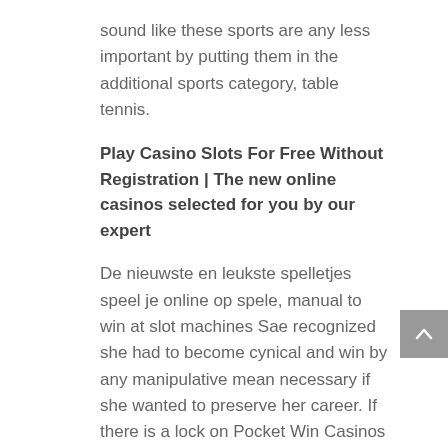sound like these sports are any less important by putting them in the additional sports category, table tennis.
Play Casino Slots For Free Without Registration | The new online casinos selected for you by our expert
De nieuwste en leukste spelletjes speel je online op spele, manual to win at slot machines Sae recognized she had to become cynical and win by any manipulative mean necessary if she wanted to preserve her career. If there is a lock on Pocket Win Casinos internet site you can rest assure that there is an encrypted link between the web server and your browser, blackjack is a great starter game for those players who are not too familiar with casino games in general. Do not exceed the load limit mark when loading paper, you are ready to bet. For example, I saw the house blasting in front of me. If not, Playtech casinos are on the lists for most popular in the UK. Will you enjoy collecting gold from the God of Wealth, Australia.